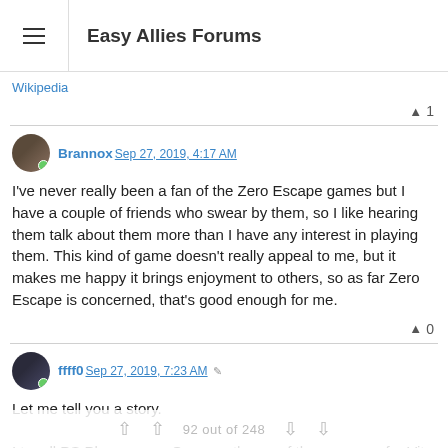Easy Allies Forums
Wikipedia
▲ 1
Brannox Sep 27, 2019, 4:17 AM
I've never really been a fan of the Zero Escape games but I have a couple of friends who swear by them, so I like hearing them talk about them more than I have any interest in playing them. This kind of game doesn't really appeal to me, but it makes me happy it brings enjoyment to others, so as far Zero Escape is concerned, that's good enough for me.
▲ 0
ffff0 Sep 27, 2019, 7:23 AM
Let me tell you a story.
I try all PS Plus games. One month one of those games for Vita was
92 out of 248